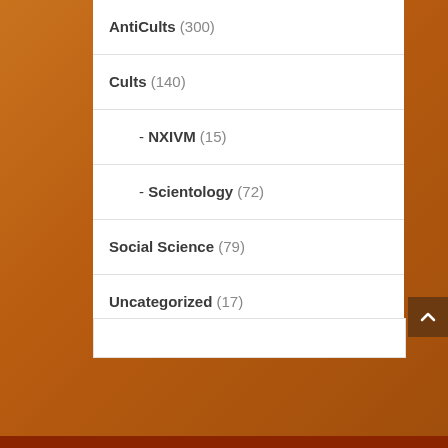AntiCults (300)
Cults (140)
- NXIVM (15)
- Scientology (72)
Social Science (79)
Uncategorized (17)